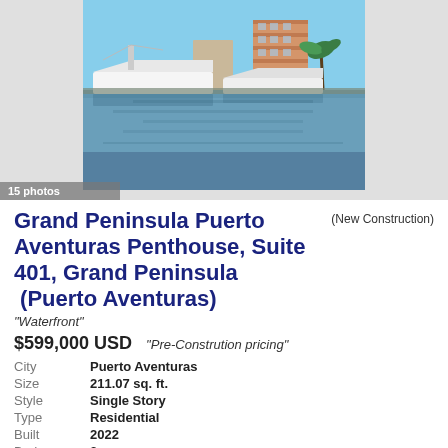[Figure (photo): Waterfront marina photo showing luxury boats/yachts docked in front of multi-story residential buildings with palm trees; clear blue sky reflected in calm water]
15 photos
Grand Peninsula Puerto Aventuras Penthouse, Suite 401, Grand Peninsula  (Puerto Aventuras)
(New Construction)
"Waterfront"
$599,000 USD    "Pre-Constrution pricing"
| City | Puerto Aventuras |
| Size | 211.07 sq. ft. |
| Style | Single Story |
| Type | Residential |
| Built | 2022 |
| Bedrooms | 3 |